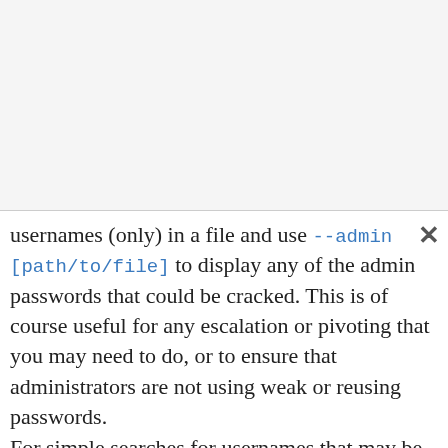usernames (only) in a file and use --admin [path/to/file] to display any of the admin passwords that could be cracked. This is of course useful for any escalation or pivoting that you may need to do, or to ensure that administrators are not using weak or reusing passwords.
For simple searches for usernames that may be in the password list use -u [username/part of username]. This list also works with email:passwords, it doesn't discriminate. Part, or excerpts of usernames can also be used.
To just identify the top N of passwords, i.e. frequency analysis, use the -f [int] argument and specify the